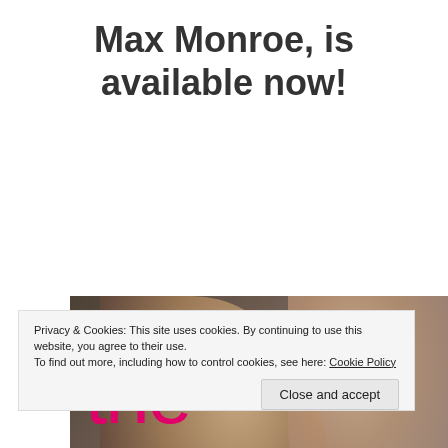Max Monroe, is available now!
[Figure (illustration): Book cover for 'the girl' by Max Monroe. Dark background with two blurred faces (man and woman). Tagline reads 'Love is blind, but fate sees everything'. Title text 'the' and 'girl' displayed in pink/magenta lettering.]
Privacy & Cookies: This site uses cookies. By continuing to use this website, you agree to their use.
To find out more, including how to control cookies, see here: Cookie Policy
Close and accept